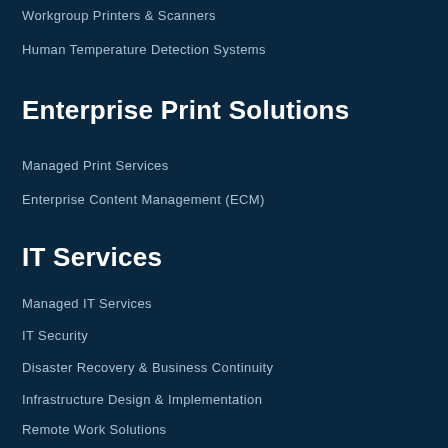Workgroup Printers & Scanners
Human Temperature Detection Systems
Enterprise Print Solutions
Managed Print Services
Enterprise Content Management (ECM)
IT Services
Managed IT Services
IT Security
Disaster Recovery & Business Continuity
Infrastructure Design & Implementation
Remote Work Solutions
About